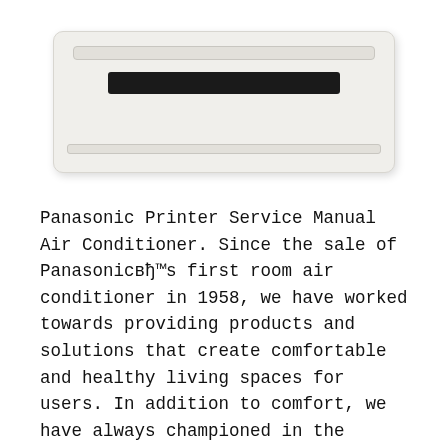[Figure (photo): Panasonic wall-mounted air conditioner unit, white/cream colored, viewed from slight angle, showing top strip, dark front vent/display panel, and bottom strip.]
Panasonic Printer Service Manual Air Conditioner. Since the sale of Panasonic's first room air conditioner in 1958, we have worked towards providing products and solutions that create comfortable and healthy living spaces for users. In addition to comfort, we have always championed in the consideration of installation ease, diversity of installation environments, and the needs of all stakeholders. For 100 years, Panasonic